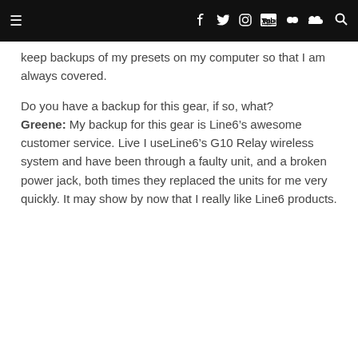Navigation bar with hamburger menu, social icons (Facebook, Twitter, Instagram, YouTube, Flickr, SoundCloud) and search
keep backups of my presets on my computer so that I am always covered.
Do you have a backup for this gear, if so, what? Greene: My backup for this gear is Line6’s awesome customer service. Live I useLine6’s G10 Relay wireless system and have been through a faulty unit, and a broken power jack, both times they replaced the units for me very quickly. It may show by now that I really like Line6 products.